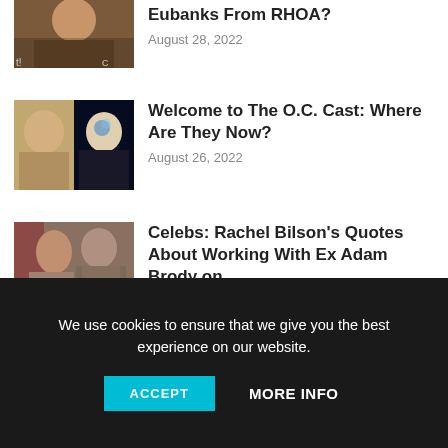[Figure (photo): Thumbnail photo of a person, partial view at top]
Eubanks From RHOA?
August 28, 2022
[Figure (photo): Two women side by side, one blonde, one in dark background]
Welcome to The O.C. Cast: Where Are They Now?
August 26, 2022
[Figure (photo): A woman and a man standing together]
Celebs: Rachel Bilson’s Quotes About Working With Ex Adam Brody on...
August 26, 2022
[Figure (photo): Partial thumbnail at bottom, cut off]
We use cookies to ensure that we give you the best experience on our website.
ACCEPT
MORE INFO